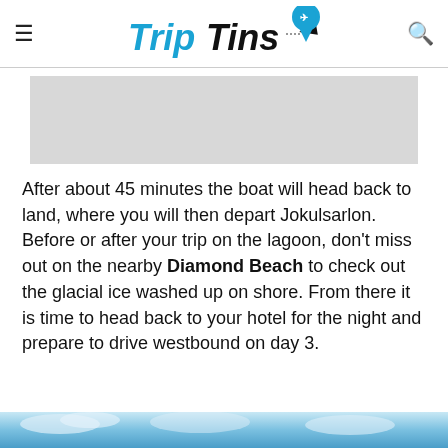TripTins
[Figure (photo): Gray placeholder image area]
After about 45 minutes the boat will head back to land, where you will then depart Jokulsarlon. Before or after your trip on the lagoon, don't miss out on the nearby Diamond Beach to check out the glacial ice washed up on shore. From there it is time to head back to your hotel for the night and prepare to drive westbound on day 3.
[Figure (photo): Sky/clouds photo strip at bottom of page]